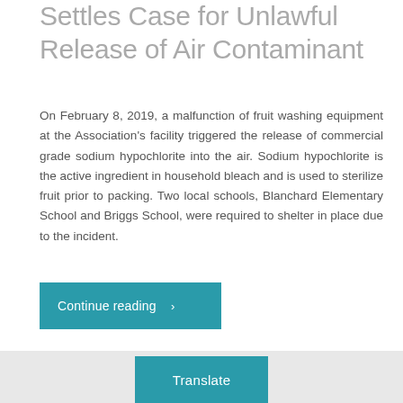Settles Case for Unlawful Release of Air Contaminant
On February 8, 2019, a malfunction of fruit washing equipment at the Association's facility triggered the release of commercial grade sodium hypochlorite into the air. Sodium hypochlorite is the active ingredient in household bleach and is used to sterilize fruit prior to packing. Two local schools, Blanchard Elementary School and Briggs School, were required to shelter in place due to the incident.
Continue reading >
Translate